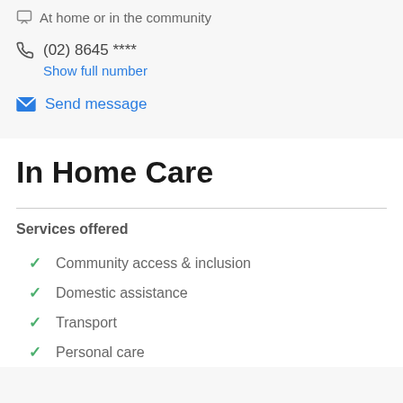At home or in the community
(02) 8645 ****
Show full number
Send message
In Home Care
Services offered
Community access & inclusion
Domestic assistance
Transport
Personal care